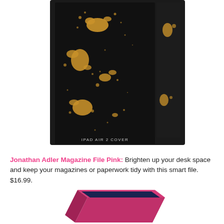[Figure (photo): A black iPad Air 2 cover/case with gold paint splatter pattern, displayed in black packaging. Label at bottom reads 'IPAD AIR 2 COVER'.]
Jonathan Adler Magazine File Pink: Brighten up your desk space and keep your magazines or paperwork tidy with this smart file. $16.99.
[Figure (photo): A pink/magenta Jonathan Adler Magazine File with a dark navy interior, shown at an angle.]